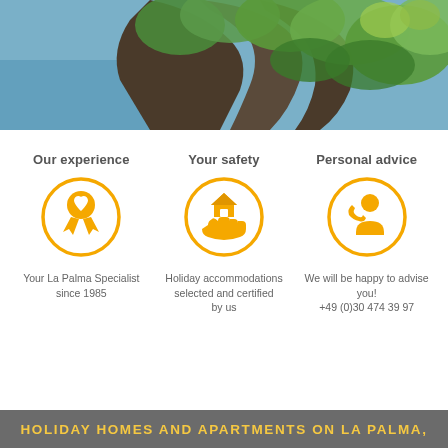[Figure (photo): Scenic cliff landscape with lush green tropical vegetation and blue sea in the background]
Our experience
[Figure (illustration): Orange circle icon with a ribbon/award badge with a heart symbol inside]
Your La Palma Specialist since 1985
Your safety
[Figure (illustration): Orange circle icon with a hand holding a house symbol]
Holiday accommodations selected and certified by us
Personal advice
[Figure (illustration): Orange circle icon with a person holding a phone]
We will be happy to advise you! +49 (0)30 474 39 97
HOLIDAY HOMES AND APARTMENTS ON LA PALMA,